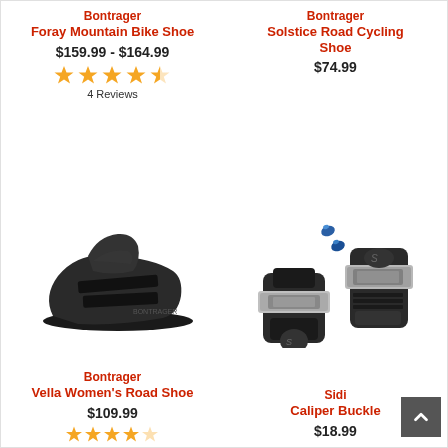Bontrager
Foray Mountain Bike Shoe
$159.99 - $164.99
4 Reviews
[Figure (photo): Black Bontrager Vella Women's Road Shoe with velcro straps]
Bontrager
Vella Women's Road Shoe
$109.99
Bontrager
Solstice Road Cycling Shoe
$74.99
[Figure (photo): Sidi Caliper Buckle - black bicycle shoe buckles with blue screws]
Sidi
Caliper Buckle
$18.99